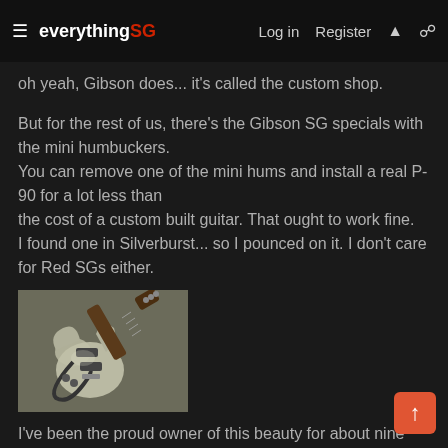everything SG — Log in   Register
oh yeah, Gibson does... it's called the custom shop.
But for the rest of us, there's the Gibson SG specials with the mini humbuckers.
You can remove one of the mini hums and install a real P-90 for a lot less than
the cost of a custom built guitar. That ought to work fine.
I found one in Silverburst... so I pounced on it. I don't care for Red SGs either.
[Figure (photo): A Silverburst Gibson SG electric guitar with a strap, lying on a surface]
I've been the proud owner of this beauty for about nine years now.
I wondered if I'd love the sound of the mini hums enough to resist installing